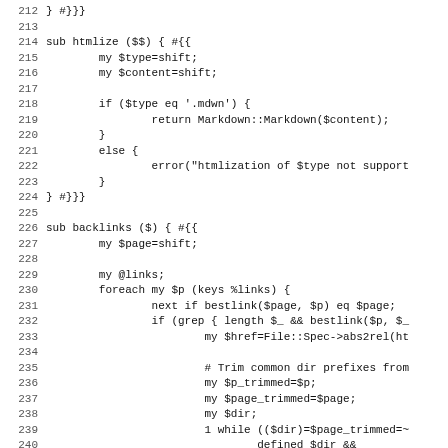Code listing lines 212-243, Perl source code showing sub htmlize and sub backlinks functions